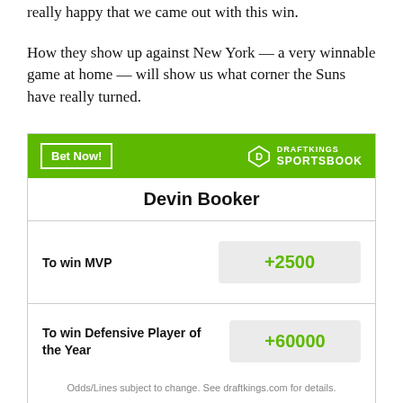really happy that we came out with this win.
How they show up against New York — a very winnable game at home — will show us what corner the Suns have really turned.
| Bet | Odds |
| --- | --- |
| To win MVP | +2500 |
| To win Defensive Player of the Year | +60000 |
Odds/Lines subject to change. See draftkings.com for details.